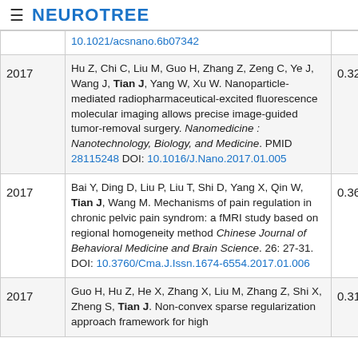≡ NEUROTREE
| Year | Reference | Score |
| --- | --- | --- |
|  | 10.1021/acsnano.6b07342 |  |
| 2017 | Hu Z, Chi C, Liu M, Guo H, Zhang Z, Zeng C, Ye J, Wang J, Tian J, Yang W, Xu W. Nanoparticle-mediated radiopharmaceutical-excited fluorescence molecular imaging allows precise image-guided tumor-removal surgery. Nanomedicine : Nanotechnology, Biology, and Medicine. PMID 28115248 DOI: 10.1016/J.Nano.2017.01.005 | 0.322 |
| 2017 | Bai Y, Ding D, Liu P, Liu T, Shi D, Yang X, Qin W, Tian J, Wang M. Mechanisms of pain regulation in chronic pelvic pain syndrom: a fMRI study based on regional homogeneity method Chinese Journal of Behavioral Medicine and Brain Science. 26: 27-31. DOI: 10.3760/Cma.J.Issn.1674-6554.2017.01.006 | 0.36 |
| 2017 | Guo H, Hu Z, He X, Zhang X, Liu M, Zhang Z, Shi X, Zheng S, Tian J. Non-convex sparse regularization approach framework for high... | 0.31 |